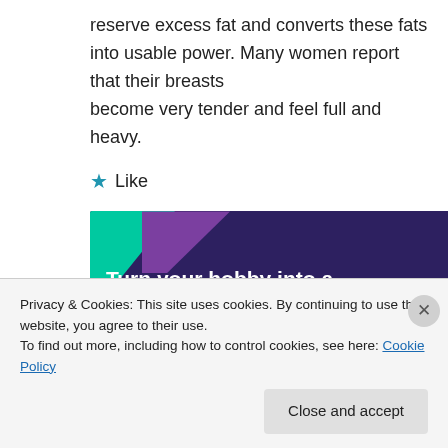reserve excess fat and converts these fats into usable power. Many women report that their breasts become very tender and feel full and heavy.
Like
[Figure (illustration): Advertisement banner with dark purple background, green triangle and purple shape in top-left corner, cyan circle in bottom-right corner. Text reads: Turn your hobby into a business in 8 steps]
Privacy & Cookies: This site uses cookies. By continuing to use this website, you agree to their use.
To find out more, including how to control cookies, see here: Cookie Policy
Close and accept